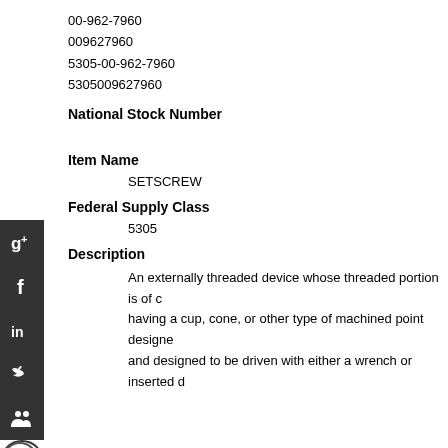00-962-7960
009627960
5305-00-962-7960
5305009627960
National Stock Number
Item Name
SETSCREW
Federal Supply Class
5305
Description
An externally threaded device whose threaded portion is of c having a cup, cone, or other type of machined point designe and designed to be driven with either a wrench or inserted d